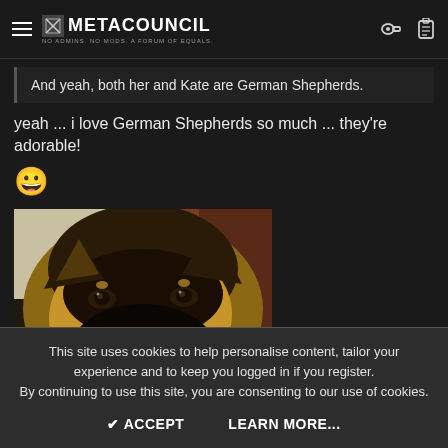METACOUNCIL — NO ADMINS. NO MODS. A FORUM OF EQUALS.
And yeah, both her and Kate are German Shepherds.
yeah ... i love German Shepherds so much ... they're adorable! 😀
[Figure (photo): Close-up photo of a German Shepherd dog's face looking directly at the camera with a large black nose prominent in the foreground]
This site uses cookies to help personalise content, tailor your experience and to keep you logged in if you register. By continuing to use this site, you are consenting to our use of cookies.
ACCEPT   LEARN MORE...